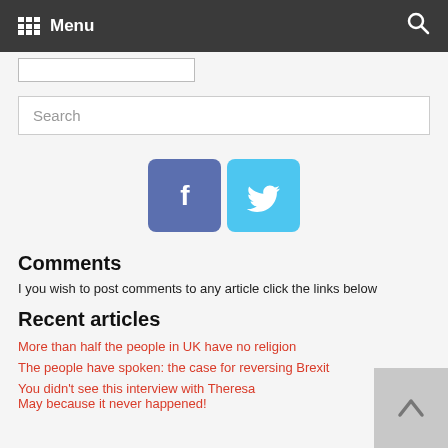Menu
[Figure (screenshot): Dropdown/menu box element]
Search
[Figure (infographic): Facebook and Twitter social media buttons]
Comments
I you wish to post comments to any article click the links below
Recent articles
More than half the people in UK have no religion
The people have spoken: the case for reversing Brexit
You didn't see this interview with Theresa May because it never happened!